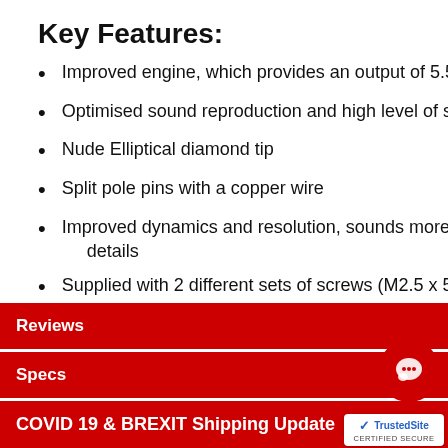Key Features:
Improved engine, which provides an output of 5.5m
Optimised sound reproduction and high level of sor
Nude Elliptical diamond tip
Split pole pins with a copper wire
Improved dynamics and resolution, sounds more op details
Supplied with 2 different sets of screws (M2.5 x 5 &
Stylus brush included
Also available with integrated headshell or verso ver
Reviews
Specs
COVID 19 & BREXIT Shipping Update